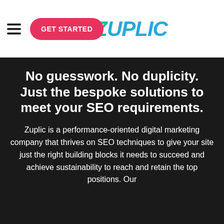GET STARTED  ZUPLIC
No guesswork. No duplicity. Just the bespoke solutions to meet your SEO requirements.
Zuplic is a performance-oriented digital marketing company that thrives on SEO techniques to give your site just the right building blocks it needs to succeed and achieve sustainability to reach and retain the top positions. Our